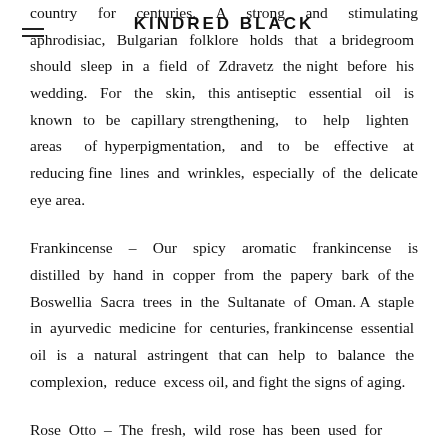KINDRED BLACK
country for centuries. A strong and stimulating aphrodisiac, Bulgarian folklore holds that a bridegroom should sleep in a field of Zdravetz the night before his wedding. For the skin, this antiseptic essential oil is known to be capillary strengthening, to help lighten areas of hyperpigmentation, and to be effective at reducing fine lines and wrinkles, especially of the delicate eye area.
Frankincense – Our spicy aromatic frankincense is distilled by hand in copper from the papery bark of the Boswellia Sacra trees in the Sultanate of Oman. A staple in ayurvedic medicine for centuries, frankincense essential oil is a natural astringent that can help to balance the complexion, reduce excess oil, and fight the signs of aging.
Rose Otto – The fresh, wild rose has been used for